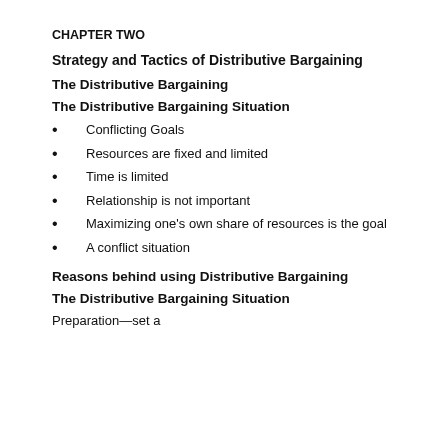CHAPTER TWO
Strategy and Tactics of Distributive Bargaining
The Distributive Bargaining
The Distributive Bargaining Situation
Conflicting Goals
Resources are fixed and limited
Time is limited
Relationship is not important
Maximizing one’s own share of resources is the goal
A conflict situation
Reasons behind using Distributive Bargaining
The Distributive Bargaining Situation
Preparation—set a